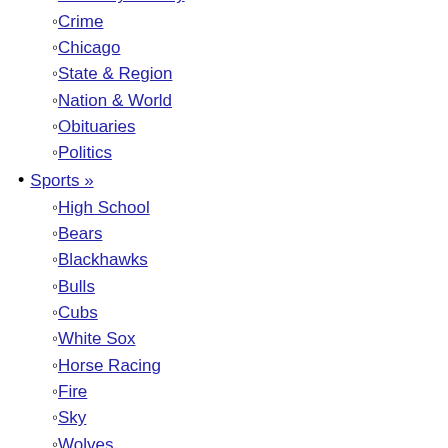Lake County
McHenry County
Crime
Chicago
State & Region
Nation & World
Obituaries
Politics
Sports »
High School
Bears
Blackhawks
Bulls
Cubs
White Sox
Horse Racing
Fire
Sky
Wolves
Prep Basketball
Prep Football
Suburban Business »
Stocks & Markets
Finance
Health